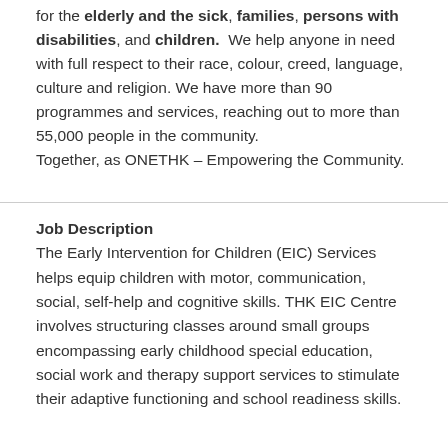for the elderly and the sick, families, persons with disabilities, and children.  We help anyone in need with full respect to their race, colour, creed, language, culture and religion. We have more than 90 programmes and services, reaching out to more than 55,000 people in the community.
Together, as ONETHK – Empowering the Community.
Job Description
The Early Intervention for Children (EIC) Services helps equip children with motor, communication, social, self-help and cognitive skills. THK EIC Centre involves structuring classes around small groups encompassing early childhood special education, social work and therapy support services to stimulate their adaptive functioning and school readiness skills.